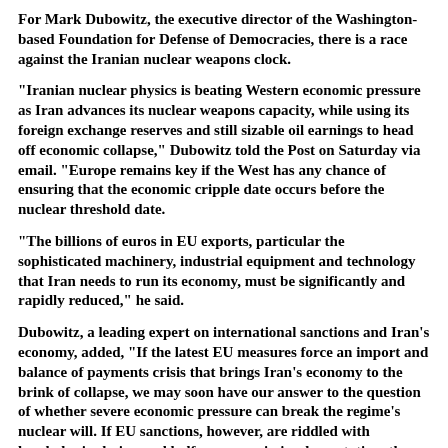For Mark Dubowitz, the executive director of the Washington-based Foundation for Defense of Democracies, there is a race against the Iranian nuclear weapons clock.
"Iranian nuclear physics is beating Western economic pressure as Iran advances its nuclear weapons capacity, while using its foreign exchange reserves and still sizable oil earnings to head off economic collapse," Dubowitz told the Post on Saturday via email. "Europe remains key if the West has any chance of ensuring that the economic cripple date occurs before the nuclear threshold date.
"The billions of euros in EU exports, particular the sophisticated machinery, industrial equipment and technology that Iran needs to run its economy, must be significantly and rapidly reduced," he said.
Dubowitz, a leading expert on international sanctions and Iran's economy, added, "If the latest EU measures force an import and balance of payments crisis that brings Iran's economy to the brink of collapse, we may soon have our answer to the question of whether severe economic pressure can break the regime's nuclear will. If EU sanctions, however, are riddled with loopholes in design and half-measures in implementation, the regime soon will be a threshold nuclear power, by which time it will be too late to peacefully resolve...